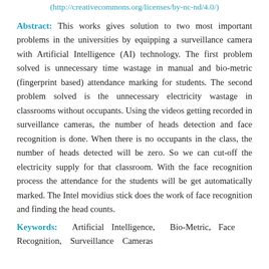(http://creativecommons.org/licenses/by-nc-nd/4.0/)
Abstract: This works gives solution to two most important problems in the universities by equipping a surveillance camera with Artificial Intelligence (AI) technology. The first problem solved is unnecessary time wastage in manual and bio-metric (fingerprint based) attendance marking for students. The second problem solved is the unnecessary electricity wastage in classrooms without occupants. Using the videos getting recorded in surveillance cameras, the number of heads detection and face recognition is done. When there is no occupants in the class, the number of heads detected will be zero. So we can cut-off the electricity supply for that classroom. With the face recognition process the attendance for the students will be get automatically marked. The Intel movidius stick does the work of face recognition and finding the head counts.
Keywords: Artificial Intelligence, Bio-Metric, Face Recognition, Surveillance Cameras